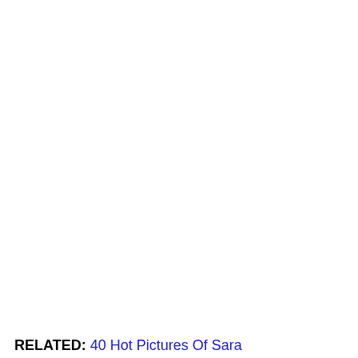RELATED: 40 Hot Pictures Of Sara